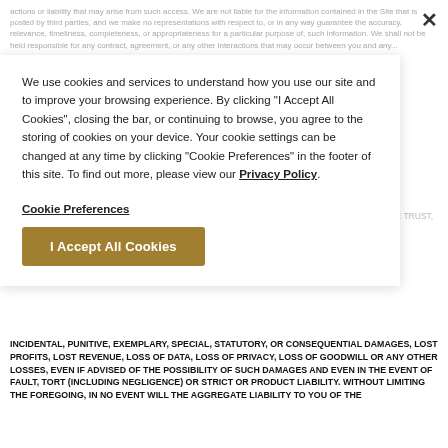actions or liability that may arise from such access. We are not liable for the information contained in the Site that is posted by third parties, and we make no representations with respect to, or in any way guarantee the accuracy, relevance, timeliness, completeness, or appropriateness for a particular purpose of, such information. We shall not be held responsible for any contract, agreement, or any other interactions that may occur between you and any...
12. Exclusive Remedy; Damage Exclusions & Limitations.
TO THE MAXIMUM EXTENT PERMITTED BY LAW, NEITHER BLACKSTONE REAL ESTATE INCOME TRUST, INC. OR ITS MANAGEMENT COMPANY, OR THEIR RESPECTIVE DIRECTORS, OFFICERS, OR REPRESENTATIVES ARE LIABLE TO YOU OR ANY OTHER PERSON FOR INDIRECT,
INCIDENTAL, PUNITIVE, EXEMPLARY, SPECIAL, STATUTORY, OR CONSEQUENTIAL DAMAGES, LOST PROFITS, LOST REVENUE, LOSS OF DATA, LOSS OF PRIVACY, LOSS OF GOODWILL OR ANY OTHER LOSSES, EVEN IF ADVISED OF THE POSSIBILITY OF SUCH DAMAGES AND EVEN IN THE EVENT OF FAULT, TORT (INCLUDING NEGLIGENCE) OR STRICT OR PRODUCT LIABILITY. WITHOUT LIMITING THE FOREGOING, IN NO EVENT WILL THE AGGREGATE LIABILITY TO YOU OF THE